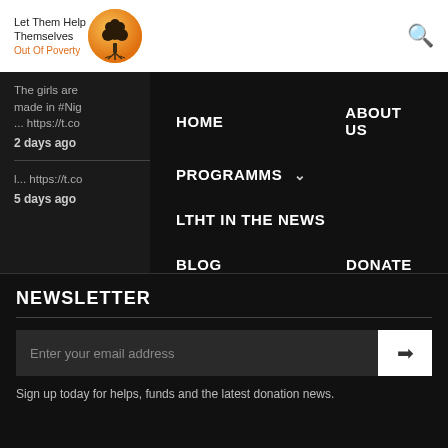[Figure (logo): Let Them Help Themselves Out Of Poverty logo with orange circle and tree icon]
The girls are made in #Nig ... https://t.co 2 days ago
l... https://t.co 5 days ago
HOME
ABOUT US
PROGRAMMS ∨
LTHT IN THE NEWS
BLOG
DONATE
CONTACT US
NEWSLETTER
Enter your email address
Sign up today for helps, funds and the latest donation news.